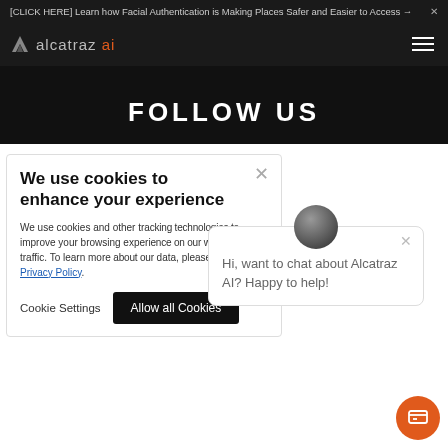[CLICK HERE] Learn how Facial Authentication is Making Places Safer and Easier to Access → X
[Figure (logo): Alcatraz AI logo with geometric A icon and text 'alcatraz ai' in grey and orange]
FOLLOW US
We use cookies to enhance your experience
We use cookies and other tracking technologies to improve your browsing experience on our website, to analyze our website traffic. To learn more about how we manage your data, please see our Privacy Policy.
Cookie Settings   Allow all Cookies
Hi, want to chat about Alcatraz AI? Happy to help!